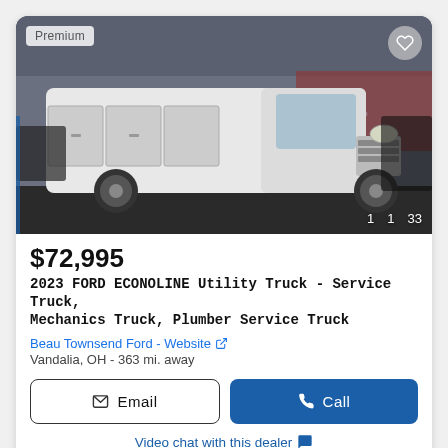[Figure (photo): White 2023 Ford Econoline utility/service truck with watermark text 'COMMERCIAL SALES' and phone number overlay, shown in a dealership lot. Badge shows Premium in top left, heart icon top right, media count icons (1 video, 1 clip, 33 photos) bottom right.]
$72,995
2023 FORD ECONOLINE Utility Truck - Service Truck, Mechanics Truck, Plumber Service Truck
Beau Townsend Ford - Website ↗
Vandalia, OH - 363 mi. away
Email
Call
Video chat with this dealer 💬